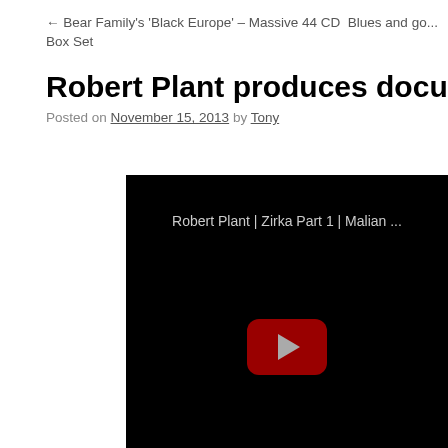← Bear Family's 'Black Europe' – Massive 44 CD  Blues and go... Box Set
Robert Plant produces documentary on Ma...
Posted on November 15, 2013 by Tony
[Figure (screenshot): YouTube video embed showing a black screen with title 'Robert Plant | Zirka Part 1 | Malian ...' and a red play button in the center]